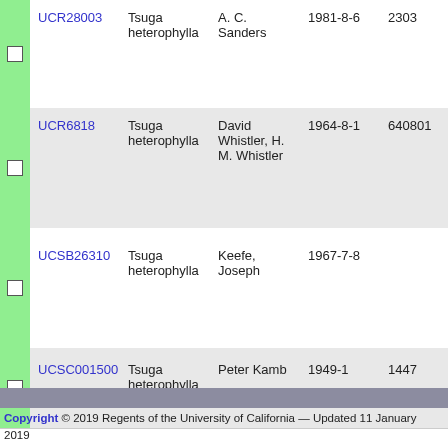|  | ID | Species | Collector | Date | Number |
| --- | --- | --- | --- | --- | --- |
|  | UCR28003 | Tsuga heterophylla | A. C. Sanders | 1981-8-6 | 2303 |
|  | UCR6818 | Tsuga heterophylla | David Whistler, H. M. Whistler | 1964-8-1 | 640801 |
|  | UCSB26310 | Tsuga heterophylla | Keefe, Joseph | 1967-7-8 |  |
|  | UCSC001500 | Tsuga heterophylla | Peter Kamb | 1949-1 | 1447 |
Copyright © 2019 Regents of the University of California — Updated 11 January 2019
0.02 processing seconds